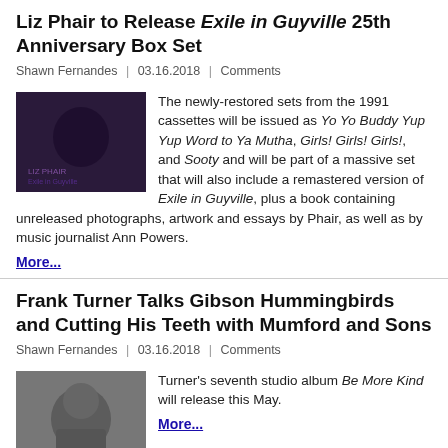Liz Phair to Release Exile in Guyville 25th Anniversary Box Set
Shawn Fernandes | 03.16.2018 | Comments
The newly-restored sets from the 1991 cassettes will be issued as Yo Yo Buddy Yup Yup Word to Ya Mutha, Girls! Girls! Girls!, and Sooty and will be part of a massive set that will also include a remastered version of Exile in Guyville, plus a book containing unreleased photographs, artwork and essays by Phair, as well as by music journalist Ann Powers.
More...
Frank Turner Talks Gibson Hummingbirds and Cutting His Teeth with Mumford and Sons
Shawn Fernandes | 03.16.2018 | Comments
Turner's seventh studio album Be More Kind will release this May.
More...
Darius Rucker to Reunite Hootie and the Blowfish for Jason Aldean Concert This Summer
Shawn Fernandes | 03.16.2018 | Comments